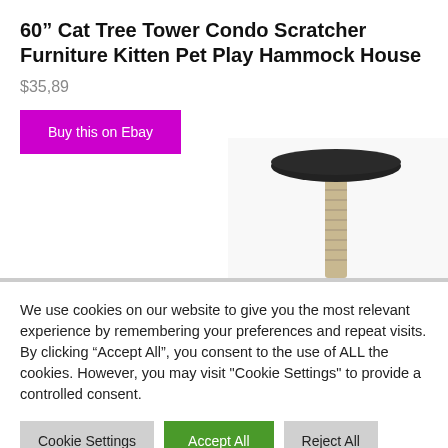60" Cat Tree Tower Condo Scratcher Furniture Kitten Pet Play Hammock House
$35,89
[Figure (photo): Product photo of a cat tree tower, showing a tall sisal-wrapped post with a dark oval platform on top, photographed on a white background. Only the upper portion of the cat tree is visible.]
We use cookies on our website to give you the most relevant experience by remembering your preferences and repeat visits. By clicking “Accept All”, you consent to the use of ALL the cookies. However, you may visit "Cookie Settings" to provide a controlled consent.